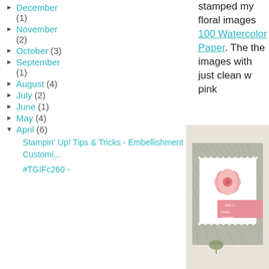► December (1)
► November (2)
► October (3)
► September (1)
► August (4)
► July (2)
► June (1)
► May (4)
▼ April (6)
Stampin' Up! Tips & Tricks - Embellishment Customi...
#TGIFc260 -
stamped my floral images 100 Watercolor Paper. The the images with just clean w pink
[Figure (photo): A handmade birthday card with pink floral embellishments on a grey textured background, with a white lace border and text reading 'may your birthday be memo...']